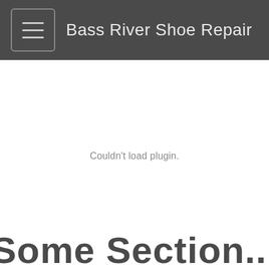Bass River Shoe Repair
Couldn't load plugin.
Some Section heading (partially visible)